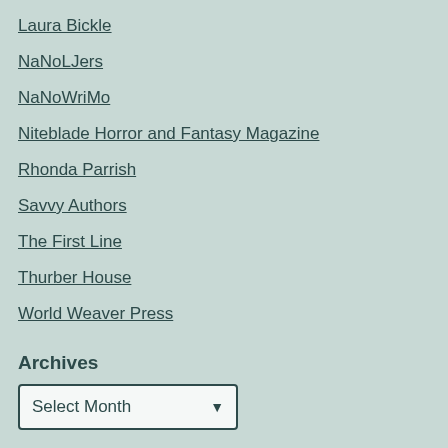Laura Bickle
NaNoLJers
NaNoWriMo
Niteblade Horror and Fantasy Magazine
Rhonda Parrish
Savvy Authors
The First Line
Thurber House
World Weaver Press
Archives
Select Month